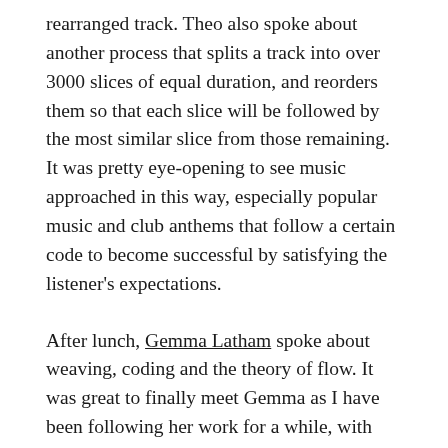rearranged track. Theo also spoke about another process that splits a track into over 3000 slices of equal duration, and reorders them so that each slice will be followed by the most similar slice from those remaining. It was pretty eye-opening to see music approached in this way, especially popular music and club anthems that follow a certain code to become successful by satisfying the listener's expectations.
After lunch, Gemma Latham spoke about weaving, coding and the theory of flow. It was great to finally meet Gemma as I have been following her work for a while, with common interests in weaving and Minecraft. As a participatory artist, she has been considering the theory of 'flow' in textiles, and how to achieve 'flow' – 'flow' meaning focus on the task in hand, navigating the fine line between anxiety and boredom whilst completing the task in an